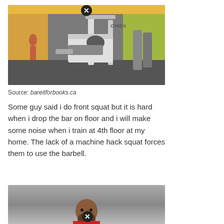[Figure (photo): A woman using a leg press / hack squat machine (Cybex brand) in a gym. She is wearing grey leggings and a cap, lying on the machine. Gym equipment and other gym-goers visible in the background with yellow and orange walls.]
Source: bareitforbooks.ca
Some guy said i do front squat but it is hard when i drop the bar on floor and i will make some noise when i train at 4th floor at my home. The lack of a machine hack squat forces them to use the barbell.
[Figure (photo): A man (partially visible, from chest up) against a grey gradient background. A close button (X) overlay is visible at the bottom center of the image.]